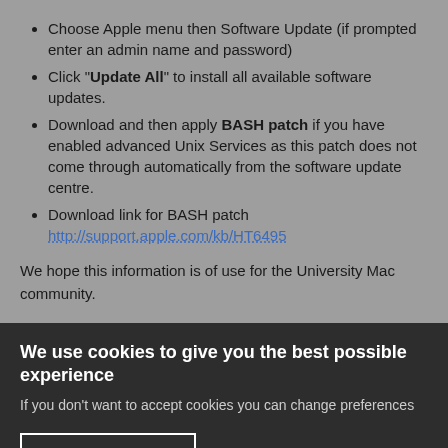Choose Apple menu then Software Update (if prompted enter an admin name and password)
Click "Update All" to install all available software updates.
Download and then apply BASH patch if you have enabled advanced Unix Services as this patch does not come through automatically from the software update centre.
Download link for BASH patch http://support.apple.com/kb/HT6495
We hope this information is of use for the University Mac community.
We use cookies to give you the best possible experience
If you don't want to accept cookies you can change preferences